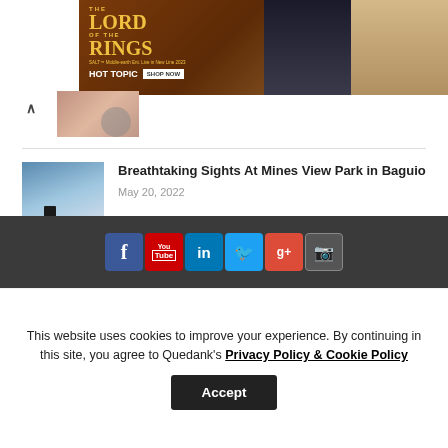[Figure (photo): Lord of the Rings Hot Topic advertisement banner with gold text on brown background and two costumed figures]
[Figure (photo): Small thumbnail image of previous article]
[Figure (photo): Person standing on a rocky overlook with mountain and blue sky views at Mines View Park in Baguio]
Breathtaking Sights At Mines View Park in Baguio
May 20, 2022
[Figure (infographic): Social media icons row: Facebook, YouTube, LinkedIn, Twitter, Google+, Instagram on dark grey footer bar]
This website uses cookies to improve your experience. By continuing in this site, you agree to Quedank's Privacy Policy & Cookie Policy
Accept